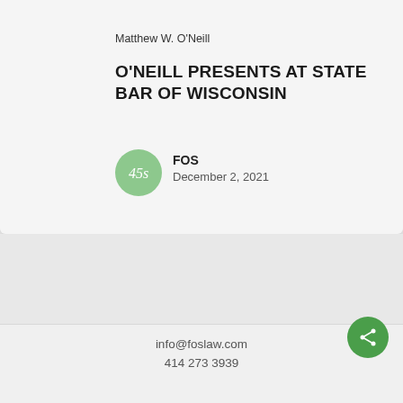Matthew W. O'Neill
O'NEILL PRESENTS AT STATE BAR OF WISCONSIN
[Figure (logo): Green circular logo with '45s' text in white]
FOS
December 2, 2021
info@foslaw.com
414 273 3939